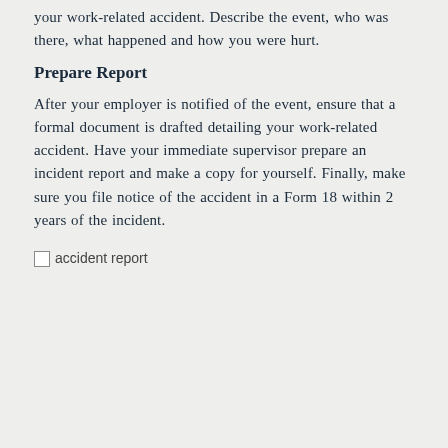your work-related accident. Describe the event, who was there, what happened and how you were hurt.
Prepare Report
After your employer is notified of the event, ensure that a formal document is drafted detailing your work-related accident. Have your immediate supervisor prepare an incident report and make a copy for yourself. Finally, make sure you file notice of the accident in a Form 18 within 2 years of the incident.
[Figure (photo): accident report image placeholder]